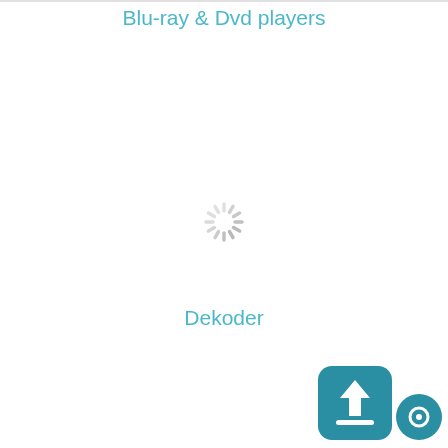Blu-ray & Dvd players
[Figure (infographic): Loading spinner icon in light gray, indicating content is loading]
Dekoder
[Figure (infographic): Upload button icon (teal rounded square with white upward arrow) and a teal circular chat/support button]